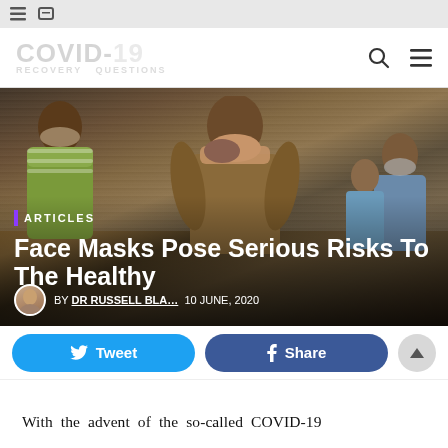COVID-19 RECOVERY QUESTIONS
[Figure (photo): People on a street covering their faces with cloth/scarves instead of masks, outdoor market setting, South Asian context]
ARTICLES
Face Masks Pose Serious Risks To The Healthy
BY DR RUSSELL BLA... 10 JUNE, 2020
Tweet
Share
With the advent of the so-called COVID-19